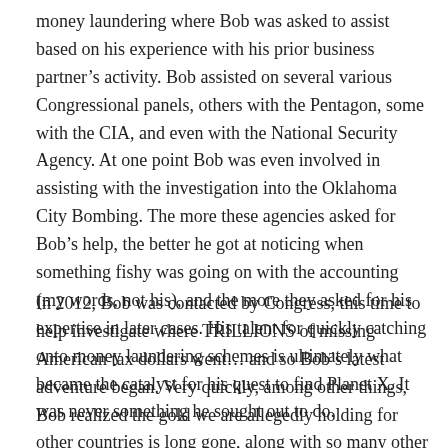money laundering where Bob was asked to assist based on his experience with his prior business partner's activity. Bob assisted on several various Congressional panels, others with the Pentagon, some with the CIA, and even with the National Security Agency. At one point Bob was even involved in assisting with the investigation into the Oklahoma City Bombing. The more these agencies asked for Bob's help, the better he got at noticing when something fishy was going on with the accounting (my words, not his), and the more they asked for his expertise in later cases. His talent for quickly catching onto money laundering schemes is ultimately what became the catalyst for his quest to find Planet X. It was never something he sought out to do.
In 2012, Bob was contacted by Congress, this time to help investigate where TRILLIONS of missing American tax dollars went… and so Bob's latest adventure began. Very quickly, among other things, Bob realized the gold we are allegedly holding for other countries is long gone, along with so many other American assets, all with no explanation, and no tangible